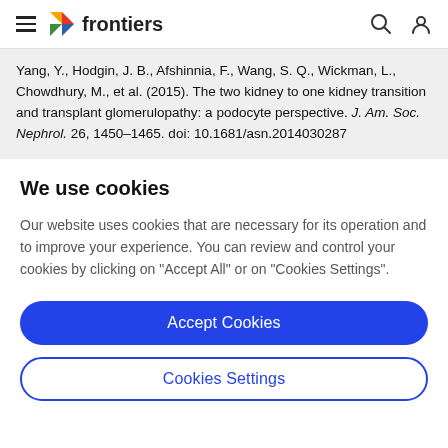frontiers
Yang, Y., Hodgin, J. B., Afshinnia, F., Wang, S. Q., Wickman, L., Chowdhury, M., et al. (2015). The two kidney to one kidney transition and transplant glomerulopathy: a podocyte perspective. J. Am. Soc. Nephrol. 26, 1450–1465. doi: 10.1681/asn.2014030287
We use cookies
Our website uses cookies that are necessary for its operation and to improve your experience. You can review and control your cookies by clicking on "Accept All" or on "Cookies Settings".
Accept Cookies
Cookies Settings